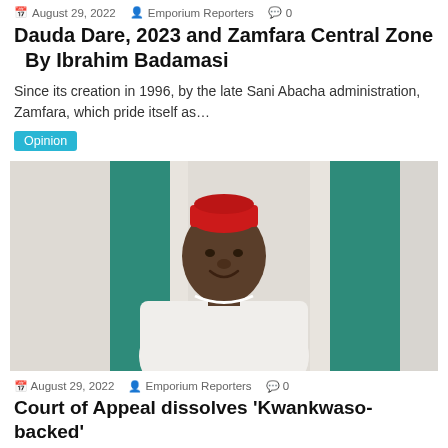August 29, 2022  Emporium Reporters  0
Dauda Dare, 2023 and Zamfara Central Zone   By Ibrahim Badamasi
Since its creation in 1996, by the late Sani Abacha administration, Zamfara, which pride itself as…
Opinion
[Figure (photo): A man wearing a red cap and white traditional clothing, smiling, with Nigerian flags in the background]
August 29, 2022  Emporium Reporters  0
Court of Appeal dissolves 'Kwankwaso-backed'